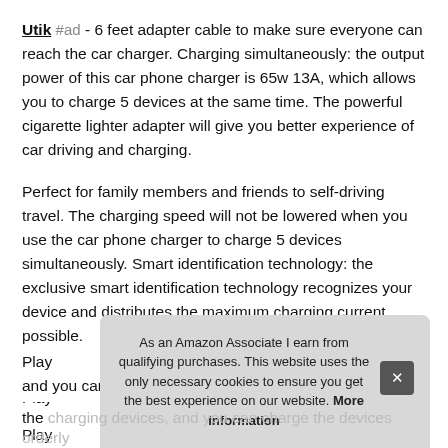Utik #ad - 6 feet adapter cable to make sure everyone can reach the car charger. Charging simultaneously: the output power of this car phone charger is 65w 13A, which allows you to charge 5 devices at the same time. The powerful cigarette lighter adapter will give you better experience of car driving and charging.
Perfect for family members and friends to self-driving travel. The charging speed will not be lowered when you use the car phone charger to charge 5 devices simultaneously. Smart identification technology: the exclusive smart identification technology recognizes your device and distributes the maximum charging current possible.
Play... the charging devices, and you can charge the devices orderly
As an Amazon Associate I earn from qualifying purchases. This website uses the only necessary cookies to ensure you get the best experience on our website. More information